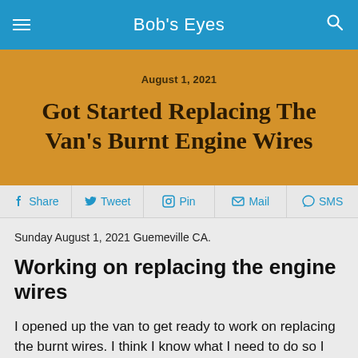Bob's Eyes
August 1, 2021
Got Started Replacing The Van's Burnt Engine Wires
Share  Tweet  Pin  Mail  SMS
Sunday August 1, 2021 Guemeville CA.
Working on replacing the engine wires
I opened up the van to get ready to work on replacing the burnt wires. I think I know what I need to do so I